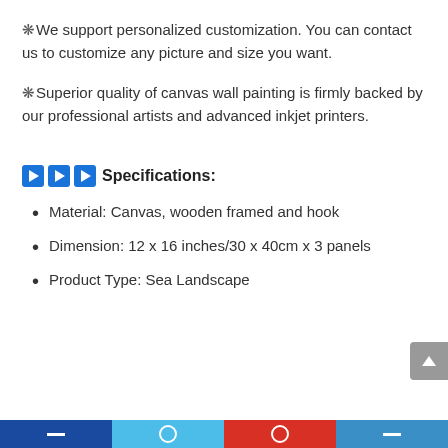✿We support personalized customization. You can contact us to customize any picture and size you want.
✿Superior quality of canvas wall painting is firmly backed by our professional artists and advanced inkjet printers.
▶▶▶Specifications:
Material: Canvas, wooden framed and hook
Dimension: 12 x 16 inches/30 x 40cm x 3 panels
Product Type: Sea Landscape